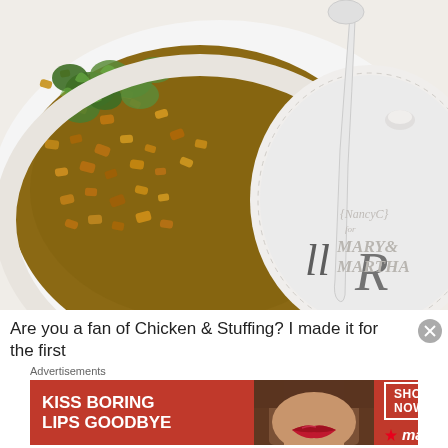[Figure (photo): Food photo showing a white ceramic baking dish filled with chicken and stuffing casserole, garnished with fresh herbs, with a spoon. A white lid with beaded edge is visible on the right. Text on the dish/surface reads '{NANCY C} for MARY & MARTHA'.]
Are you a fan of Chicken & Stuffing? I made it for the first
Advertisements
[Figure (infographic): Macy's advertisement banner with red background. Left side shows bold white text 'KISS BORING LIPS GOODBYE'. Center shows a close-up photo of a woman with red lipstick. Right side has a 'SHOP NOW' button in a white rectangle outline and the Macy's star logo in white italic text.]